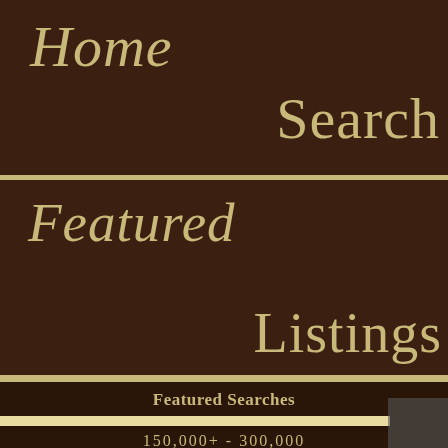Home Search
Featured Listings
Featured Searches
150,000+ - 300,000